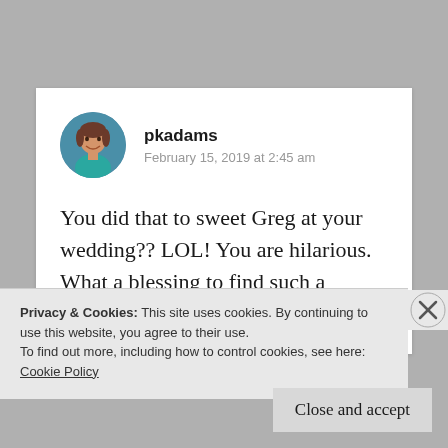[Figure (photo): Circular avatar photo of a woman smiling, wearing a teal/turquoise top, used as a blog comment author avatar]
pkadams
February 15, 2019 at 2:45 am
You did that to sweet Greg at your wedding?? LOL! You are hilarious. What a blessing to find such a wonderful
Privacy & Cookies: This site uses cookies. By continuing to use this website, you agree to their use.
To find out more, including how to control cookies, see here:
Cookie Policy
Close and accept